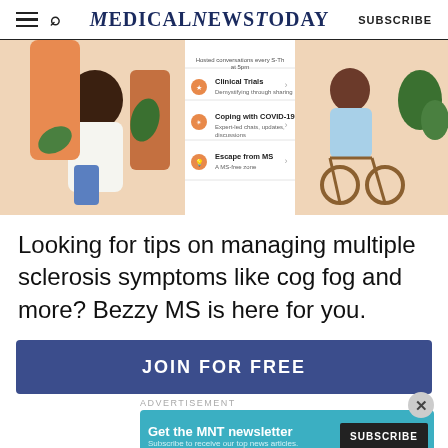MedicalNewsToday SUBSCRIBE
[Figure (screenshot): App screenshot showing Bezzy MS community features including Clinical Trials, Coping with COVID-19, and Escape from MS sections, with illustrated women on either side.]
Looking for tips on managing multiple sclerosis symptoms like cog fog and more? Bezzy MS is here for you.
JOIN FOR FREE
ADVERTISEMENT
[Figure (screenshot): MNT newsletter subscription banner: Get the MNT newsletter. Subscribe to receive our top news articles. SUBSCRIBE button.]